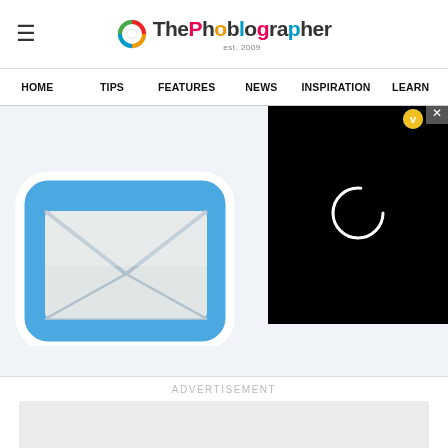ThePhoblographer
HOME  TIPS  FEATURES  NEWS  INSPIRATION  LEARN
[Figure (screenshot): Screenshot of ThePhoblographer website showing Mac Mail app icon (blue with envelope) on the left and a black video loading overlay on the right with a white loading circle and close button]
ADVERTISEMENT